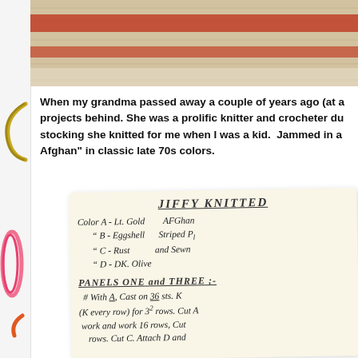[Figure (photo): Close-up photo of knitted fabric in cream/beige and rust/red colors showing knit texture pattern]
When my grandma passed away a couple of years ago (at a projects behind. She was a prolific knitter and crocheter du stocking she knitted for me when I was a kid.  Jammed in a Afghan" in classic late 70s colors.
[Figure (photo): Handwritten recipe/pattern card on cream paper for 'JIFFY KNITTED' Afghan. Color A - Lt. Gold, B - Eggshell, C - Rust, D - Dk. Olive. Afghan Striped and Sewn. PANELS ONE and THREE: # With A, Cast on 36 sts. (K every row) for 32 rows. Cut and work 16 rows, Cut C. Attach D and ... rows. Cut C. Attach D and ...]